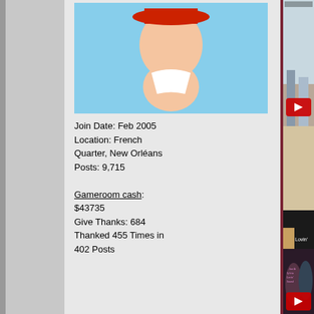[Figure (photo): Cartoon avatar image of a character with red hat]
Join Date: Feb 2005
Location: French Quarter, New Orléans
Posts: 9,715

Gameroom cash: $43735
Give Thanks: 684
Thanked 455 Times in 402 Posts
[Figure (screenshot): YouTube video thumbnail showing two people sitting on beach rocks with FOUR STRONG WINDS text, with YouTube play button overlay]
[Figure (screenshot): Jan & Sylvia Lovin' Sound album thumbnail with YouTube play button, showing album artwork and couple photo]